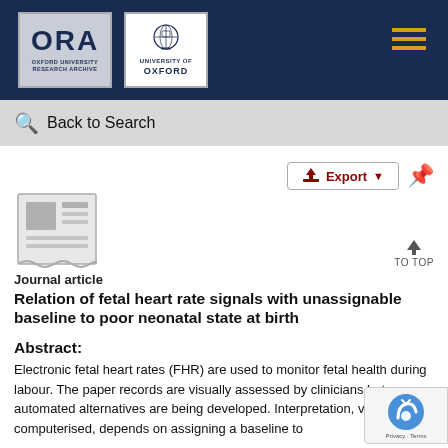[Figure (logo): ORA Oxford University Research Archive logo and University of Oxford crest logo on dark navy header bar with hamburger menu icon]
Back to Search
[Figure (illustration): Journal article document icon (newspaper/article symbol in grey)]
Journal article
Relation of fetal heart rate signals with unassignable baseline to poor neonatal state at birth
Abstract:
Electronic fetal heart rates (FHR) are used to monitor fetal health during labour. The paper records are visually assessed by clinicians but automated alternatives are being developed. Interpretation, visual or computerised, depends on assigning a baseline to identify effects of accelerations and decelerations.